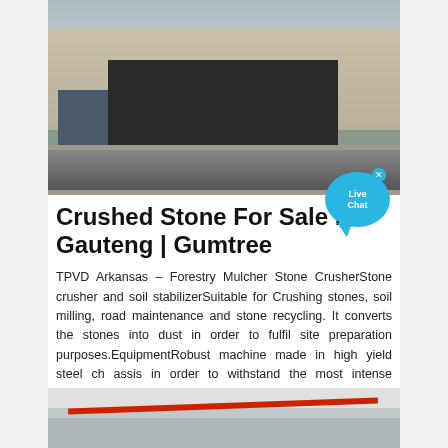[Figure (photo): A large stone crusher / forestry mulcher machine operating in an open quarry with white rocky terrain and blue sky in the background.]
Crushed Stone For Sale in Gauteng | Gumtree
TPVD Arkansas – Forestry Mulcher Stone CrusherStone crusher and soil stabilizerSuitable for Crushing stones, soil milling, road maintenance and stone recycling. It converts the stones into dust in order to fulfil site preparation purposes.EquipmentRobust machine made in high yield steel ch assis in order to withstand the most intense effortsDetachable anti-wear plate frame & back cover for …
[Figure (photo): Interior view of an industrial building or warehouse with ceiling lights and a red structural beam.]